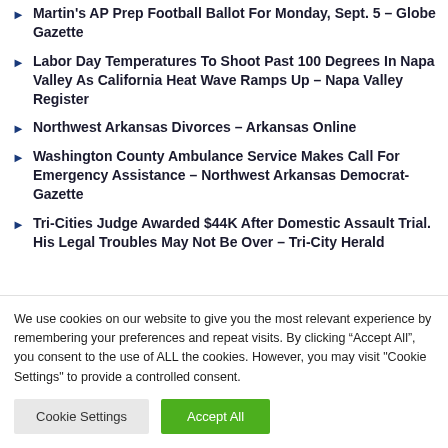Martin's AP Prep Football Ballot For Monday, Sept. 5 – Globe Gazette
Labor Day Temperatures To Shoot Past 100 Degrees In Napa Valley As California Heat Wave Ramps Up – Napa Valley Register
Northwest Arkansas Divorces – Arkansas Online
Washington County Ambulance Service Makes Call For Emergency Assistance – Northwest Arkansas Democrat-Gazette
Tri-Cities Judge Awarded $44K After Domestic Assault Trial. His Legal Troubles May Not Be Over – Tri-City Herald
We use cookies on our website to give you the most relevant experience by remembering your preferences and repeat visits. By clicking "Accept All", you consent to the use of ALL the cookies. However, you may visit "Cookie Settings" to provide a controlled consent.